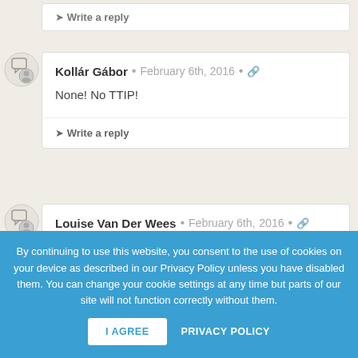➤ Write a reply
Kollár Gábor • February 6th, 2016 •
None! No TTIP!
➤ Write a reply
Louise Van Der Wees • February 6th, 2016 •
By continuing to use this website, you consent to the use of cookies on your device as described in our Privacy Policy unless you have disabled them. You can change your cookie settings at any time but parts of our site will not function correctly without them.
I AGREE
PRIVACY POLICY